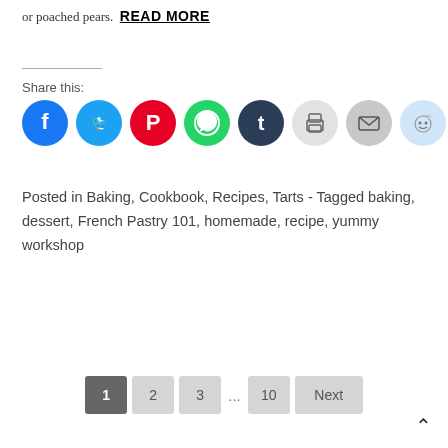or poached pears. READ MORE
Share this:
[Figure (infographic): Row of social share icon buttons: Facebook (blue), Twitter (cyan), Pinterest (red), WhatsApp (green), Tumblr (dark navy), Print (light gray), Email (gray), Reddit (light blue)]
Posted in Baking, Cookbook, Recipes, Tarts - Tagged baking, dessert, French Pastry 101, homemade, recipe, yummy workshop
Pagination: 1 2 3 ... 10 Next